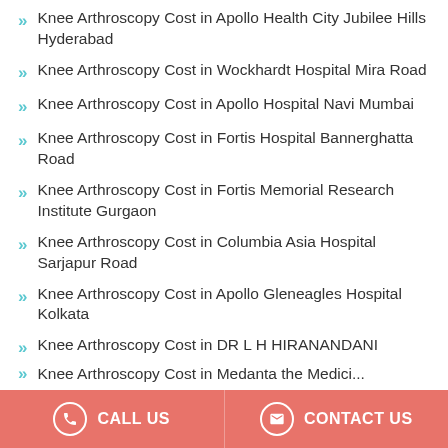Knee Arthroscopy Cost in Apollo Health City Jubilee Hills Hyderabad
Knee Arthroscopy Cost in Wockhardt Hospital Mira Road
Knee Arthroscopy Cost in Apollo Hospital Navi Mumbai
Knee Arthroscopy Cost in Fortis Hospital Bannerghatta Road
Knee Arthroscopy Cost in Fortis Memorial Research Institute Gurgaon
Knee Arthroscopy Cost in Columbia Asia Hospital Sarjapur Road
Knee Arthroscopy Cost in Apollo Gleneagles Hospital Kolkata
Knee Arthroscopy Cost in DR L H HIRANANDANI HOSPITAL
Knee Arthroscopy Cost in Manipal Hospital Gurgaon Earlier Columbia Asia Hospital Gurgaon
Knee Arthroscopy Cost in (partially visible)
CALL US   CONTACT US